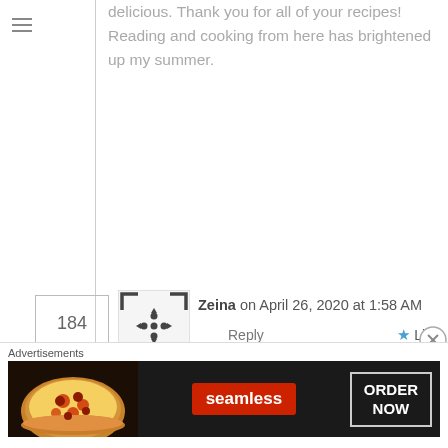delicious. Thank you for all of your recipes! Reading and cooking from here has brightened up my summer.
184
[Figure (illustration): Avatar placeholder icon with bracket corners and a grid/move symbol in center]
Zeina on April 26, 2020 at 1:58 AM
Reply    ★ Like
Dearest Sawsan,
God bless you!!! Thank you so much for posting this recipe and instructions on how to make one of the BEST pita breads we've ever tasted! Our household will never ever buy store bought pita bread again. Not only does it make the best pita bread ever, we also make potato pies, spinach pie and
Advertisements
[Figure (screenshot): Seamless food delivery advertisement banner with pizza image on left, seamless logo in center, and ORDER NOW button on right]